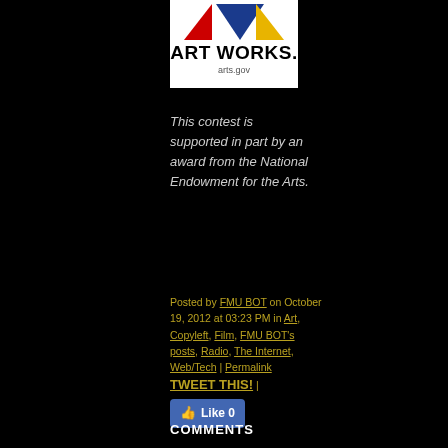[Figure (logo): NEA Art Works logo with colored triangles (red, blue, yellow) above bold text 'ART WORKS.' and 'arts.gov' on white background]
This contest is supported in part by an award from the National Endowment for the Arts.
Posted by FMU BOT on October 19, 2012 at 03:23 PM in Art, Copyleft, Film, FMU BOT's posts, Radio, The Internet, Web/Tech | Permalink TWEET THIS! | Like 0
COMMENTS